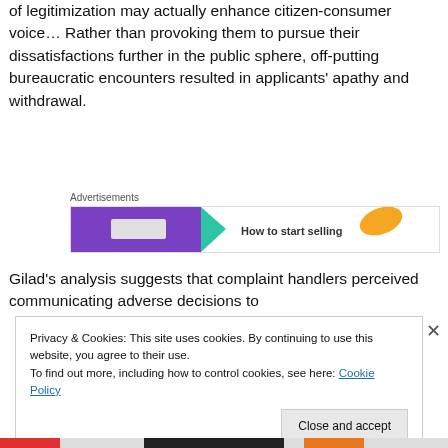of legitimization may actually enhance citizen-consumer voice… Rather than provoking them to pursue their dissatisfactions further in the public sphere, off-putting bureaucratic encounters resulted in applicants' apathy and withdrawal.
[Figure (screenshot): Advertisement banner showing purple and teal graphic with text 'How to start selling' and an orange leaf shape]
Gilad's analysis suggests that complaint handlers perceived communicating adverse decisions to
Privacy & Cookies: This site uses cookies. By continuing to use this website, you agree to their use.
To find out more, including how to control cookies, see here: Cookie Policy
Close and accept